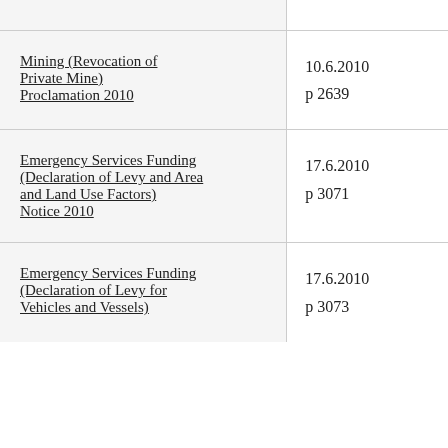| Instrument | Date / Page |
| --- | --- |
| Mining (Revocation of Private Mine) Proclamation 2010 | 10.6.2010
p 2639 |
| Emergency Services Funding (Declaration of Levy and Area and Land Use Factors) Notice 2010 | 17.6.2010
p 3071 |
| Emergency Services Funding (Declaration of Levy for Vehicles and Vessels) | 17.6.2010
p 3073 |